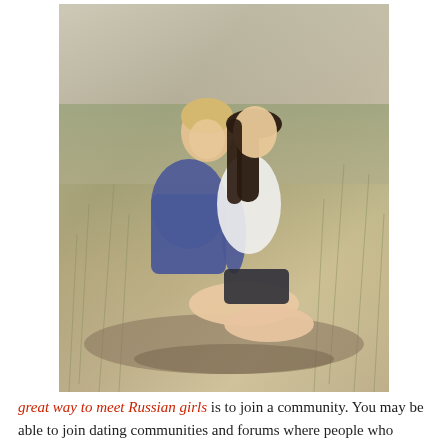[Figure (photo): A young couple sitting together in a field of tall dry grass. The man (blond, wearing a blue shirt) leans toward the woman (dark long hair, white top, dark shorts) who is seated sideways. They are in an intimate, romantic pose.]
great way to meet Russian girls is to join a community. You may be able to join dating communities and forums where people who speak Russian will be around to give you some useful tips and information about dating.